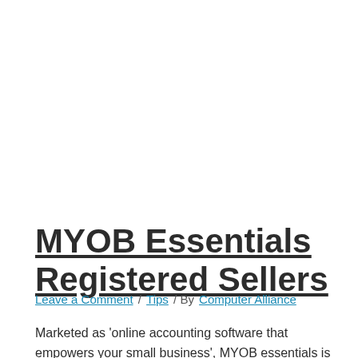MYOB Essentials Registered Sellers
Leave a Comment / Tips / By Computer Alliance
Marketed as 'online accounting software that empowers your small business', MYOB essentials is a must for anyone managing their business themselves. No matter if your business is new and just